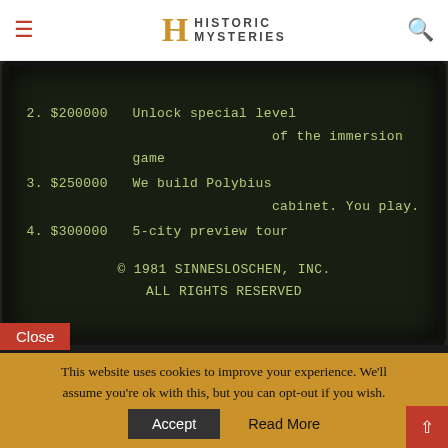Historic Mysteries
[Figure (screenshot): A CRT monitor screen showing text: '2. $200000 Unlock special level of the immersion game / 3. $250000 We build Polybius cabinet. You play. / 4. $300000 5-city preview tour / © 1981 SINNESLOSCHEN, INC. ALL RIGHTS RESERVED']
This website uses cookies to improve your experience. We'll assume you're ok with this, but you can opt-out if you wish.
Close
Accept
Read More